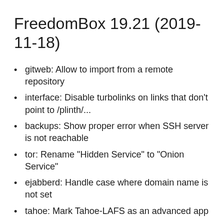FreedomBox 19.21 (2019-11-18)
gitweb: Allow to import from a remote repository
interface: Disable turbolinks on links that don't point to /plinth/...
backups: Show proper error when SSH server is not reachable
tor: Rename "Hidden Service" to "Onion Service"
ejabberd: Handle case where domain name is not set
tahoe: Mark Tahoe-LAFS as an advanced app
searx: Set safe_search to Moderate by default
backups: Make verify ssh host page string translatable
backups: Simplify SSH fingerprint verification command
doc: Fix unavailability of manual images
tor: Fix port diagnostics by correcting port data